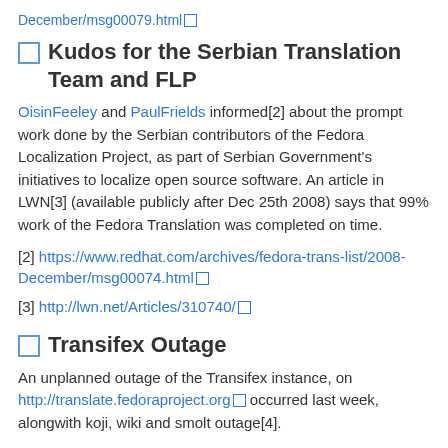December/msg00079.html
Kudos for the Serbian Translation Team and FLP
OisinFeeley and PaulFrields informed[2] about the prompt work done by the Serbian contributors of the Fedora Localization Project, as part of Serbian Government's initiatives to localize open source software. An article in LWN[3] (available publicly after Dec 25th 2008) says that 99% work of the Fedora Translation was completed on time.
[2] https://www.redhat.com/archives/fedora-trans-list/2008-December/msg00074.html
[3] http://lwn.net/Articles/310740/
Transifex Outage
An unplanned outage of the Transifex instance, on http://translate.fedoraproject.org occurred last week, alongwith koji, wiki and smolt outage[4].